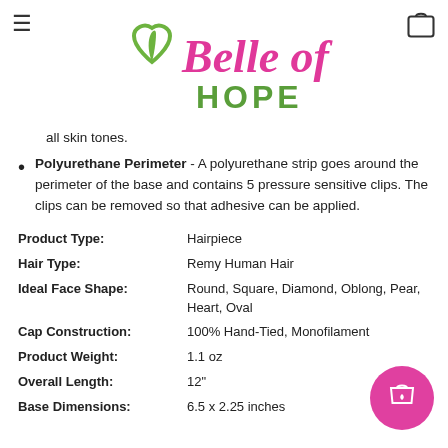Belle of Hope
all skin tones.
Polyurethane Perimeter - A polyurethane strip goes around the perimeter of the base and contains 5 pressure sensitive clips. The clips can be removed so that adhesive can be applied.
| Product Type: | Hairpiece |
| Hair Type: | Remy Human Hair |
| Ideal Face Shape: | Round, Square, Diamond, Oblong, Pear, Heart, Oval |
| Cap Construction: | 100% Hand-Tied, Monofilament |
| Product Weight: | 1.1 oz |
| Overall Length: | 12" |
| Base Dimensions: | 6.5 x 2.25 inches |